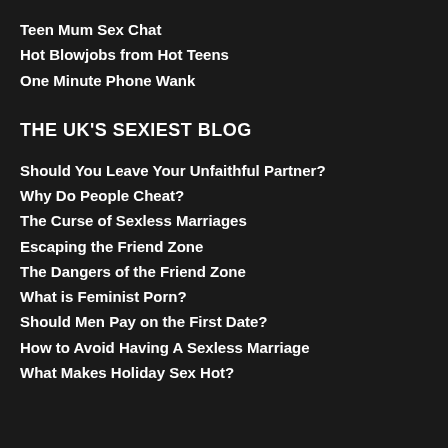Teen Mum Sex Chat
Hot Blowjobs from Hot Teens
One Minute Phone Wank
THE UK'S SEXIEST BLOG
Should You Leave Your Unfaithful Partner?
Why Do People Cheat?
The Curse of Sexless Marriages
Escaping the Friend Zone
The Dangers of the Friend Zone
What is Feminist Porn?
Should Men Pay on the First Date?
How to Avoid Having A Sexless Marriage
What Makes Holiday Sex Hot?